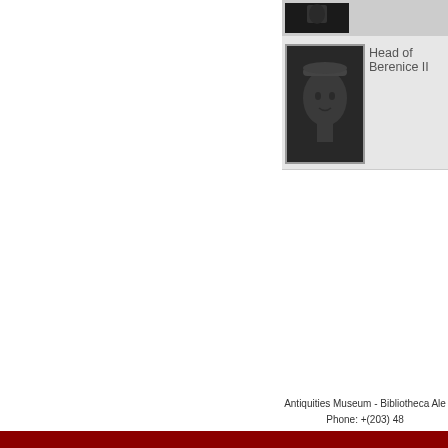[Figure (photo): Dark artifact thumbnail at top of list, partially visible]
[Figure (photo): Head of Berenice II - dark bronze head sculpture thumbnail]
Head of Berenice II
Discover The Museum Co
[Figure (photo): Eye of Horus / Wedjat eye artifact - silver/grey colored amulet]
[Figure (photo): Partial artifact image cut off at right edge]
Antiquities Museum - Bibliotheca Ale
Phone: +(203) 48